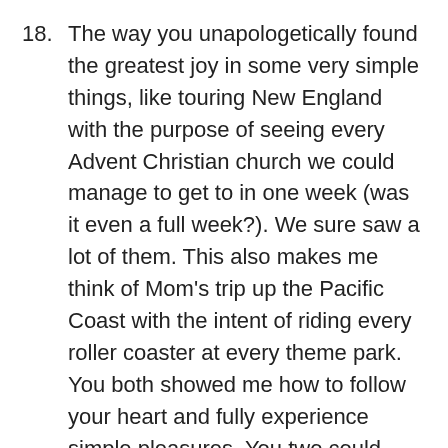18. The way you unapologetically found the greatest joy in some very simple things, like touring New England with the purpose of seeing every Advent Christian church we could manage to get to in one week (was it even a full week?). We sure saw a lot of them. This also makes me think of Mom’s trip up the Pacific Coast with the intent of riding every roller coaster at every theme park. You both showed me how to follow your heart and fully experience simple pleasures. You two could make anything an adventure, and I was along for the wild ride.
19. You modeled how to admit when you were wrong and how to apologize. That one is HUGE.
20. Your dislike of jeans and how I was in third grade before I remember owning a pair. How crazy is that? Who doesn’t like jeans? On some silly, deep